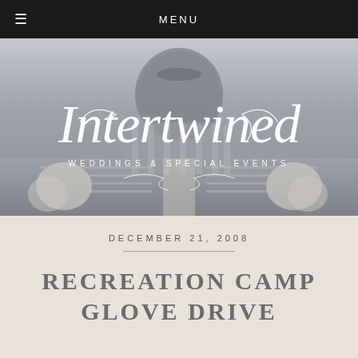MENU
[Figure (photo): Outdoor wedding ceremony venue with a large domed classical building in the background, white chairs set up along an aisle with floral arrangements, overlaid with the 'Intertwined Weddings & Special Events' script logo in white]
DECEMBER 21, 2008
RECREATION CAMP GLOVE DRIVE